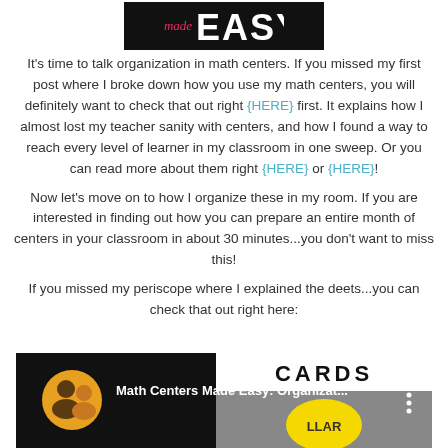[Figure (logo): Math Made Easy logo — black background with cursive 'made' in pink/red and bold white uppercase 'EASY!' text]
It's time to talk organization in math centers. If you missed my first post where I broke down how you use my math centers, you will definitely want to check that out right {HERE} first. It explains how I almost lost my teacher sanity with centers, and how I found a way to reach every level of learner in my classroom in one sweep. Or you can read more about them right {HERE} or {HERE}!
Now let's move on to how I organize these in my room. If you are interested in finding out how you can prepare an entire month of centers in your classroom in about 30 minutes...you don't want to miss this!
If you missed my periscope where I explained the deets...you can check that out right here:
[Figure (screenshot): YouTube video thumbnail showing 'Math Centers Made Easy: Organizat...' with a circular avatar of two people and a preview image showing 'CARDS' text and a yellow circle on dark background, with three-dot menu icon]